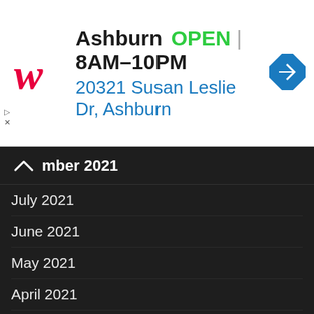[Figure (logo): Walgreens W logo in red script]
Ashburn OPEN | 8AM–10PM
20321 Susan Leslie Dr, Ashburn
nber 2021
July 2021
June 2021
May 2021
April 2021
March 2021
February 2021
January 2021
December 2020
November 2020
October 2020
September 2020